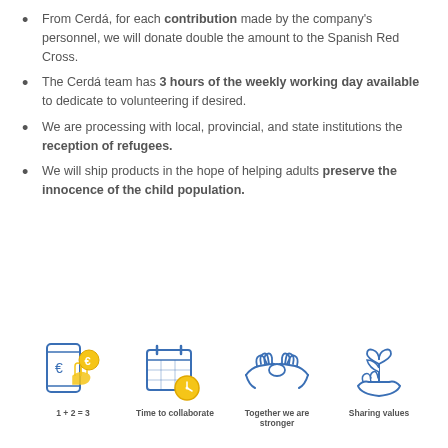From Cerdá, for each contribution made by the company's personnel, we will donate double the amount to the Spanish Red Cross.
The Cerdá team has 3 hours of the weekly working day available to dedicate to volunteering if desired.
We are processing with local, provincial, and state institutions the reception of refugees.
We will ship products in the hope of helping adults preserve the innocence of the child population.
[Figure (illustration): Four icons arranged in a row: a phone with coin/hand (1+2=3), a calendar with clock (Time to collaborate), two hands clasped (Together we are stronger), and a plant with heart (Sharing values).]